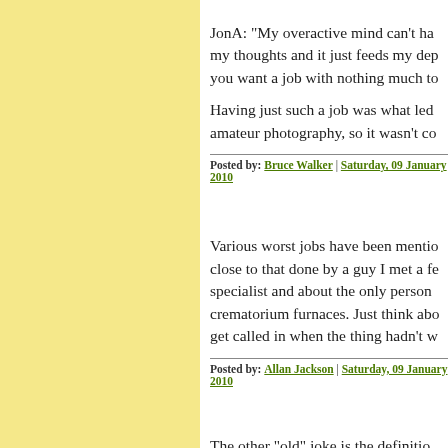JonA: "My overactive mind can't ha... my thoughts and it just feeds my dep... you want a job with nothing much to...
Having just such a job was what led ... amateur photography, so it wasn't co...
Posted by: Bruce Walker | Saturday, 09 January 2010
Various worst jobs have been mentio... close to that done by a guy I met a fe... specialist and about the only person ... crematorium furnaces. Just think abo... get called in when the thing hadn't w...
Posted by: Allan Jackson | Saturday, 09 January 2010
The other "old" joke is the definitio... has had their sense of humour surgi...